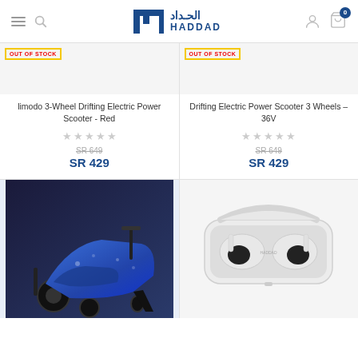[Figure (logo): HADDAD store logo with Arabic text and stylized H icon in blue]
OUT OF STOCK
limodo 3-Wheel Drifting Electric Power Scooter - Red
SR 649 (strikethrough), SR 429
OUT OF STOCK
Drifting Electric Power Scooter 3 Wheels – 36V
SR 649 (strikethrough), SR 429
[Figure (photo): Blue galaxy-themed 3-wheel drifting electric scooter]
[Figure (photo): White wireless earbuds in open charging case]